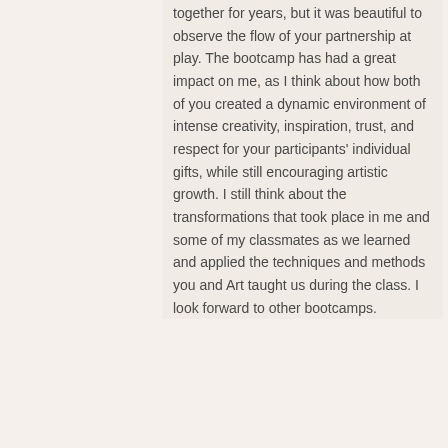together for years, but it was beautiful to observe the flow of your partnership at play. The bootcamp has had a great impact on me, as I think about how both of you created a dynamic environment of intense creativity, inspiration, trust, and respect for your participants' individual gifts, while still encouraging artistic growth. I still think about the transformations that took place in me and some of my classmates as we learned and applied the techniques and methods you and Art taught us during the class. I look forward to other bootcamps.
[Figure (illustration): Closing double quotation mark in orange color]
Follow Us
[Figure (logo): Facebook logo icon - black rounded square with white f]
Like us on Facebook
Find us